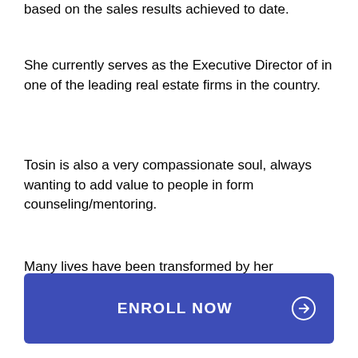based on the sales results achieved to date.
She currently serves as the Executive Director of in one of the leading real estate firms in the country.
Tosin is also a very compassionate soul, always wanting to add value to people in form counseling/mentoring.
Many lives have been transformed by her seminars, training sessions and teachings.
ENROLL NOW